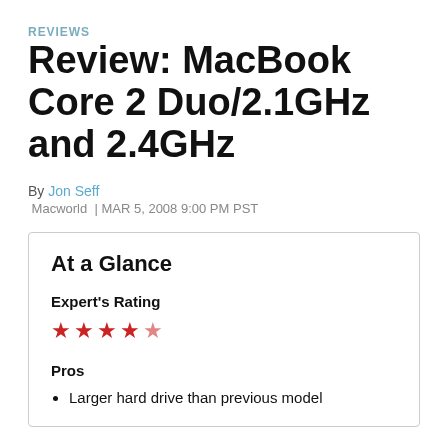REVIEWS
Review: MacBook Core 2 Duo/2.1GHz and 2.4GHz
By Jon Seff
Macworld | MAR 5, 2008 9:00 PM PST
At a Glance
Expert's Rating
★★★★☆ (4 out of 5 stars)
Pros
Larger hard drive than previous model